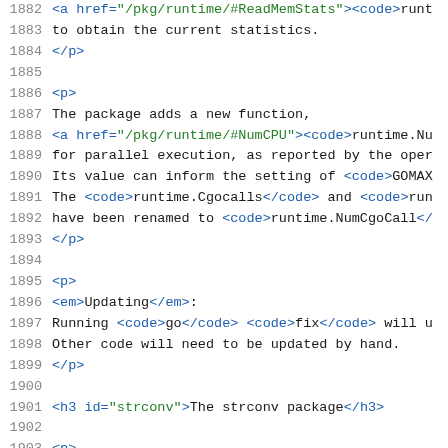1882    <a href="/pkg/runtime/#ReadMemStats"><code>runt...
1883    to obtain the current statistics.
1884    </p>
1885
1886    <p>
1887    The package adds a new function,
1888    <a href="/pkg/runtime/#NumCPU"><code>runtime.Nu...
1889    for parallel execution, as reported by the oper...
1890    Its value can inform the setting of <code>GOMAX...
1891    The <code>runtime.Cgocalls</code> and <code>run...
1892    have been renamed to <code>runtime.NumCgoCall</...
1893    </p>
1894
1895    <p>
1896    <em>Updating</em>:
1897    Running <code>go</code> <code>fix</code> will u...
1898    Other code will need to be updated by hand.
1899    </p>
1900
1901    <h3 id="strconv">The strconv package</h3>
1902
1903    <p>